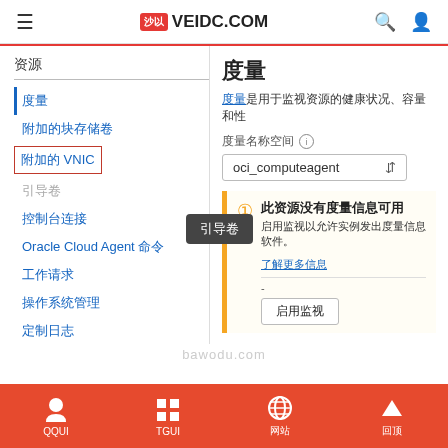≡  VEIDC.COM  🔍  👤
资源
度量
附加的块存储卷
附加的 VNIC
引导卷
控制台连接
Oracle Cloud Agent 命令
工作请求
操作系统管理
定制日志
度量
度量是用于监视资源的健康状况、容量和性
度量名称空间 ℹ
oci_computeagent
此资源没有度量信息可用
启用监视以允许实例发出度量信息软件。
了解更多信息
-
启用监视
bawodu.com
QQUI  TGUI  网站  回顶